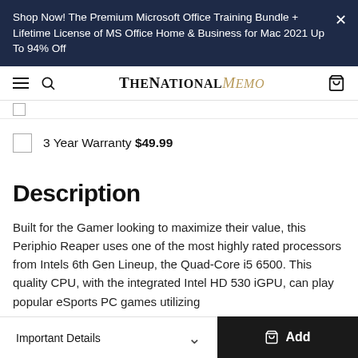Shop Now! The Premium Microsoft Office Training Bundle + Lifetime License of MS Office Home & Business for Mac 2021 Up To 94% Off
TheNationalMemo
3 Year Warranty $49.99
Description
Built for the Gamer looking to maximize their value, this Periphio Reaper uses one of the most highly rated processors from Intels 6th Gen Lineup, the Quad-Core i5 6500. This quality CPU, with the integrated Intel HD 530 iGPU, can play popular eSports PC games utilizing
Important Details